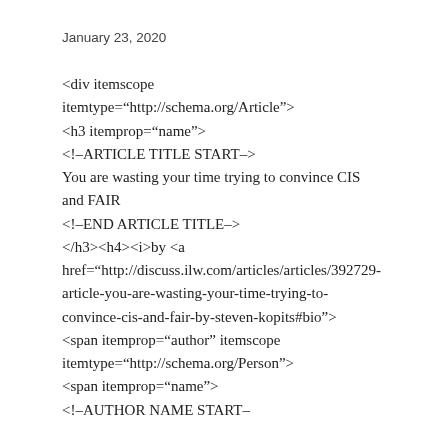January 23, 2020
<div itemscope itemtype="http://schema.org/Article"> <h3 itemprop="name"> <!--ARTICLE TITLE START–> You are wasting your time trying to convince CIS and FAIR <!--END ARTICLE TITLE–> </h3><h4><i>by <a href="http://discuss.ilw.com/articles/articles/392729-article-you-are-wasting-your-time-trying-to-convince-cis-and-fair-by-steven-kopits#bio"> <span itemprop="author" itemscope itemtype="http://schema.org/Person"> <span itemprop="name"> <!–AUTHOR NAME START–>